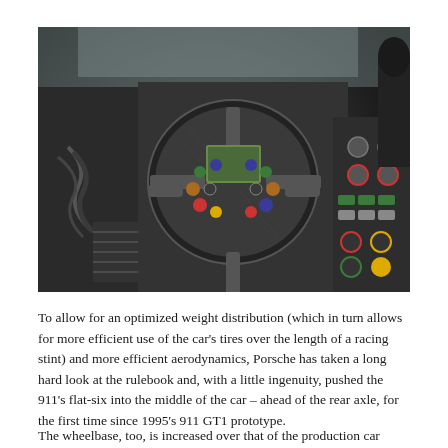[Figure (photo): Interior cockpit of a Porsche racing car showing a carbon fiber steering wheel with multiple colorful buttons and controls, dashboard with various switches and buttons, roll cage visible, and what appears to be a racing seat on the right side. Dark, dramatic lighting.]
To allow for an optimized weight distribution (which in turn allows for more efficient use of the car's tires over the length of a racing stint) and more efficient aerodynamics, Porsche has taken a long hard look at the rulebook and, with a little ingenuity, pushed the 911's flat-six into the middle of the car – ahead of the rear axle, for the first time since 1995's 911 GT1 prototype.
The wheelbase, too, is increased over that of the production car